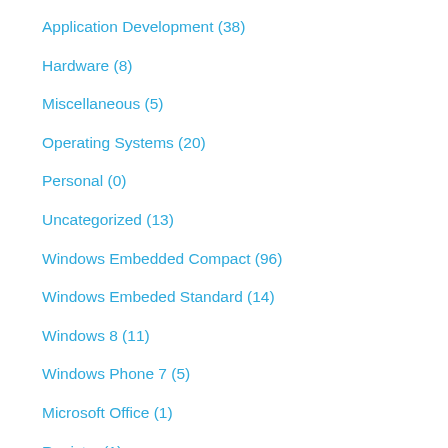Application Development (38)
Hardware (8)
Miscellaneous (5)
Operating Systems (20)
Personal (0)
Uncategorized (13)
Windows Embedded Compact (96)
Windows Embeded Standard (14)
Windows 8 (11)
Windows Phone 7 (5)
Microsoft Office (1)
Registry (1)
WEPP (1)
Hyper-V (4)
Compact Framework (11)